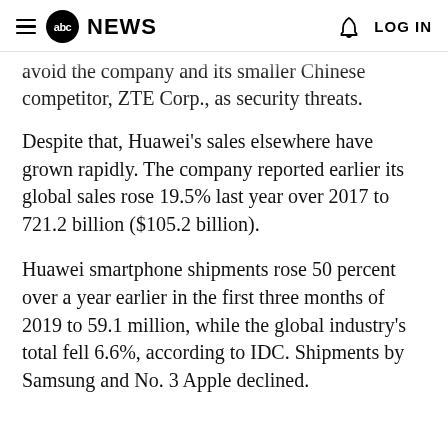abc NEWS  LOG IN
avoid the company and its smaller Chinese competitor, ZTE Corp., as security threats.
Despite that, Huawei's sales elsewhere have grown rapidly. The company reported earlier its global sales rose 19.5% last year over 2017 to 721.2 billion ($105.2 billion).
Huawei smartphone shipments rose 50 percent over a year earlier in the first three months of 2019 to 59.1 million, while the global industry's total fell 6.6%, according to IDC. Shipments by Samsung and No. 3 Apple declined.